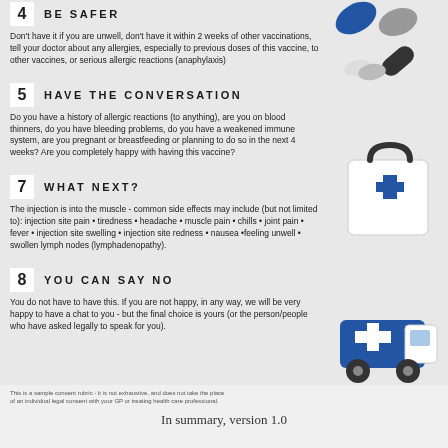4 BE SAFER
Don't have it if you are unwell, don't have it within 2 weeks of other vaccinations, tell your doctor about any allergies, especially to previous doses of this vaccine, to other vaccines, or serious allergic reactions (anaphylaxis)
5 HAVE THE CONVERSATION
Do you have a history of allergic reactions (to anything), are you on blood thinners, do you have bleeding problems, do you have a weakened immune system, are you pregnant or breastfeeding or planning to do so in the next 4 weeks? Are you completely happy with having this vaccine?
7 WHAT NEXT?
The injection is into the muscle - common side effects may include (but not limited to): injection site pain • tiredness • headache • muscle pain • chills • joint pain • fever • injection site swelling • injection site redness • nausea •feeling unwell • swollen lymph nodes (lymphadenopathy).
8 YOU CAN SAY NO
You do not have to have this. If you are not happy, in any way, we will be very happy to have a chat to you - but the final choice is yours (or the person/people who have asked legally to speak for you).
This is a sample consent rubric - it is not exhaustive, and does not take the place of an individual legal consent with your GP or treating health care professional.
In summary, version 1.0